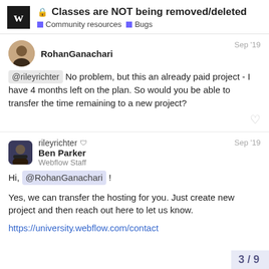Classes are NOT being removed/deleted — Community resources · Bugs
RohanGanachari — Sep '19
@rileyrichter No problem, but this an already paid project - I have 4 months left on the plan. So would you be able to transfer the time remaining to a new project?
rileyrichter Ben Parker Webflow Staff — Sep '19
Hi, @RohanGanachari !

Yes, we can transfer the hosting for you. Just create new project and then reach out here to let us know.

https://university.webflow.com/contact
3 / 9